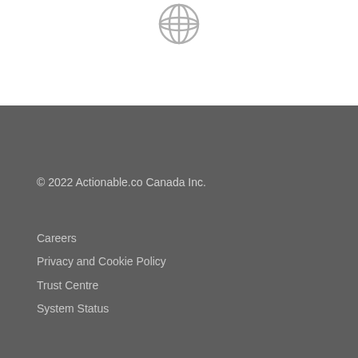[Figure (logo): Globe/world icon in light gray outline style, positioned at top center of page]
© 2022 Actionable.co Canada Inc.
Careers
Privacy and Cookie Policy
Trust Centre
System Status